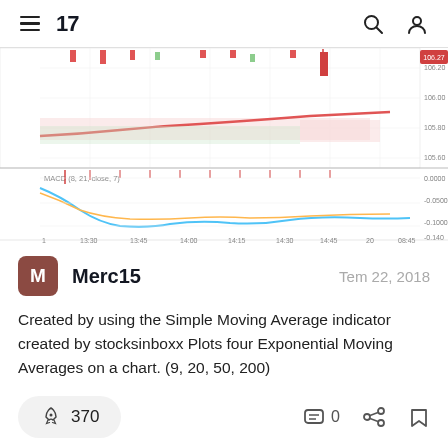TradingView
[Figure (screenshot): TradingView candlestick and MACD chart screenshot showing price around 106.00 with MACD(8,21,close,7) indicator. Time axis shows 13:30–08:45. Price axis shows 105.60–106.27. MACD panel shows blue and orange lines with values between 0.0000 and -0.1000.]
Merc15
Tem 22, 2018
Created by using the Simple Moving Average indicator created by stocksinboxx Plots four Exponential Moving Averages on a chart. (9, 20, 50, 200)
370
0